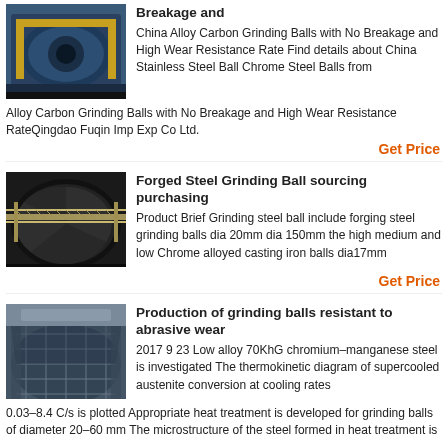[Figure (photo): Industrial grinding machine, blue machinery in a factory setting]
Breakage and
China Alloy Carbon Grinding Balls with No Breakage and High Wear Resistance Rate Find details about China Stainless Steel Ball Chrome Steel Balls from Alloy Carbon Grinding Balls with No Breakage and High Wear Resistance RateQingdao Fuqin Imp Exp Co Ltd.
Get Price
[Figure (photo): Large circular steel grinding ball mill, aerial view with a bridge/conveyor across it]
Forged Steel Grinding Ball sourcing purchasing
Product Brief Grinding steel ball include forging steel grinding balls dia 20mm dia 150mm the high medium and low Chrome alloyed casting iron balls dia17mm
Get Price
[Figure (photo): Large industrial structure, grinding balls storage or production facility]
Production of grinding balls resistant to abrasive wear
2017 9 23 Low alloy 70KhG chromium–manganese steel is investigated The thermokinetic diagram of supercooled austenite conversion at cooling rates 0.03–8.4 C/s is plotted Appropriate heat treatment is developed for grinding balls of diameter 20–60 mm The microstructure of the steel formed in heat treatment is